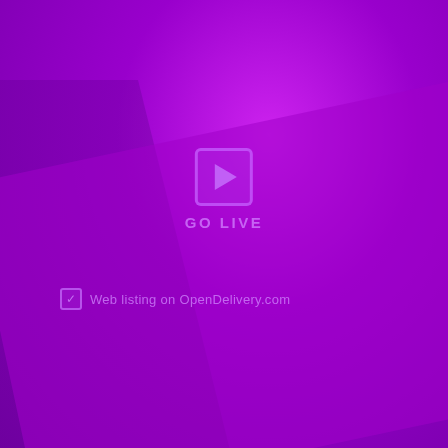[Figure (illustration): Purple/violet gradient background with a diagonal lighter purple panel overlay in the lower portion, and a dark silhouette figure area on the left side.]
GO LIVE
Web listing on OpenDelivery.com